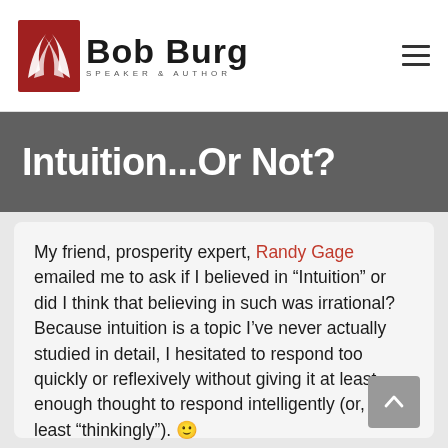Bob Burg — Speaker & Author
Intuition...Or Not?
My friend, prosperity expert, Randy Gage emailed me to ask if I believed in “Intuition” or did I think that believing in such was irrational? Because intuition is a topic I’ve never actually studied in detail, I hesitated to respond too quickly or reflexively without giving it at least enough thought to respond intelligently (or, at least “thinkingly”). 🙂